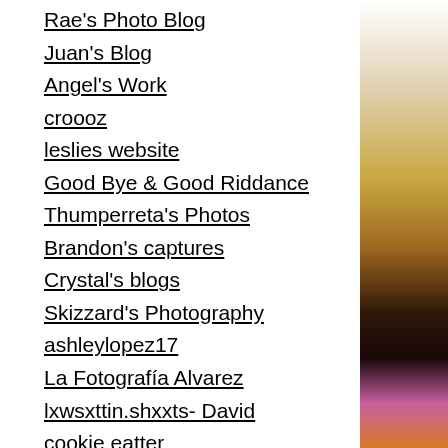Rae's Photo Blog
Juan's Blog
Angel's Work
croooz
leslies website
Good Bye & Good Riddance
Thumperreta's Photos
Brandon's captures
Crystal's blogs
Skizzard's Photography
ashleylopez17
La Fotografía Alvarez
lxwsxttin.shxxts- David
cookie eatter
Andrea Zazueta
Kira's Photos
I am the real slim shady yes t
[Figure (photo): Partial view of a colorful photo on the right side of the page showing purple, yellow/gold, and orange tones]